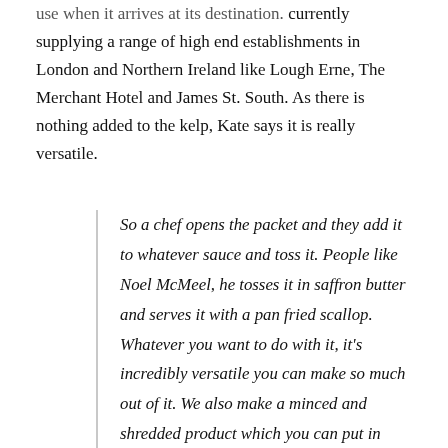currently supplying a range of high end establishments in London and Northern Ireland like Lough Erne, The Merchant Hotel and James St. South. As there is nothing added to the kelp, Kate says it is really versatile.
So a chef opens the packet and they add it to whatever sauce and toss it. People like Noel McMeel, he tosses it in saffron butter and serves it with a pan fried scallop. Whatever you want to do with it, it's incredibly versatile you can make so much out of it. We also make a minced and shredded product which you can put in butter sauces. Of course you can put that in breads and soups, that's what people traditionally do with kelp, it's kind of easy